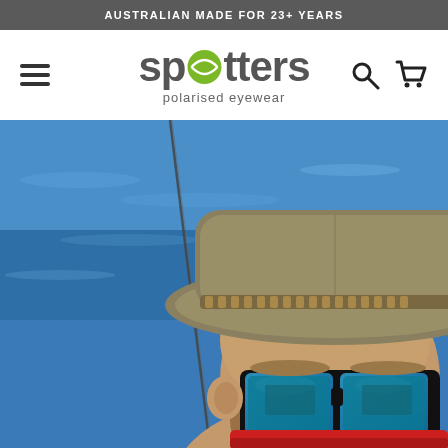AUSTRALIAN MADE FOR 23+ YEARS
[Figure (logo): Spotters polarised eyewear logo with green tennis ball replacing the 'o' in spotters]
[Figure (photo): Close-up photo of a bearded man wearing a wide-brim hat and blue mirror-lens polarised sunglasses, on a boat with blue ocean water in background and a fishing rod visible]